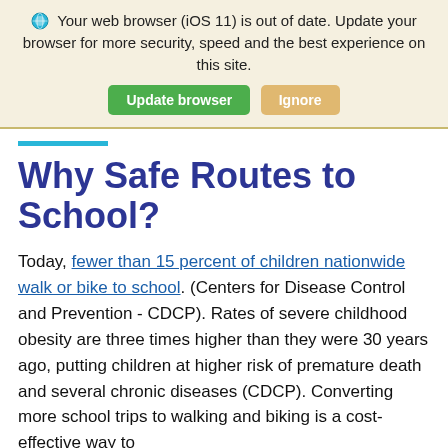Your web browser (iOS 11) is out of date. Update your browser for more security, speed and the best experience on this site. [Update browser] [Ignore]
Why Safe Routes to School?
Today, fewer than 15 percent of children nationwide walk or bike to school. (Centers for Disease Control and Prevention - CDCP). Rates of severe childhood obesity are three times higher than they were 30 years ago, putting children at higher risk of premature death and several chronic diseases (CDCP). Converting more school trips to walking and biking is a cost-effective way to address chronic disease, and biking...